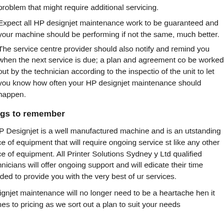problem that might require additional servicing.
Expect all HP designjet maintenance work to be guaranteed and your machine should be performing if not the same, much better.
The service centre provider should also notify and remind you when the next service is due; a plan and agreement can be worked out by the technician according to the inspection of the unit to let you know how often your HP designjet maintenance should happen.
hings to remember
e HP Designjet is a well manufactured machine and is an outstanding piece of equipment that will require ongoing servicing just like any other piece of equipment. All Printer Solutions Sydney Pty Ltd qualified technicians will offer ongoing support and will dedicate their time needed to provide you with the very best of our services.
r designjet maintenance will no longer need to be a heartache when it comes to pricing as we sort out a plan to suit your needs